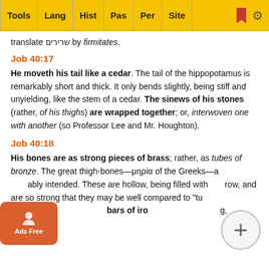Tools | Lang | Hist | Pas | Per | Site
translate שרירים by firmitates.
Job 40:17
He moveth his tail like a cedar. The tail of the hippopotamus is remarkably short and thick. It only bends slightly, being stiff and unyielding, like the stem of a cedar. The sinews of his stones (rather, of his thighs) are wrapped together; or, interwoven one with another (so Professor Lee and Mr. Houghton).
Job 40:18
His bones are as strong pieces of brass; rather, as tubes of bronze. The great thigh-bones—μηρία of the Greeks—are probably intended. These are hollow, being filled with marrow, and are so strong that they may be well compared to "tu... bars of iron..., forearm..."